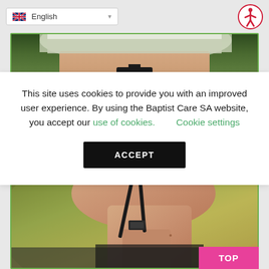English (language selector)
[Figure (photo): Top portion of a person wearing a white cycling helmet, close-up, with green blurred background]
This site uses cookies to provide you with an improved user experience. By using the Baptist Care SA website, you accept our use of cookies.   Cookie settings
[Figure (other): ACCEPT button (black rectangle with white bold text)]
[Figure (photo): Close-up of a person wearing a black cycling helmet strap, chin and neck visible, blurred greenish background]
TOP